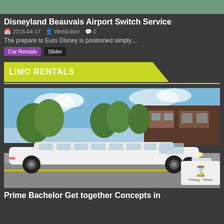[Figure (photo): Top partial image cropped at top of page]
Disneyland Beauvais Airport Switch Service
2018-04-17   WebEditor   0
The prepare to Euro Disney is positioned simply…
Car Rentals   Slider
LIMO RENTALS
[Figure (photo): Photo of a long white stretch limousine parked in front of a building with trees in the background]
Prime Bachelor Get together Concepts in